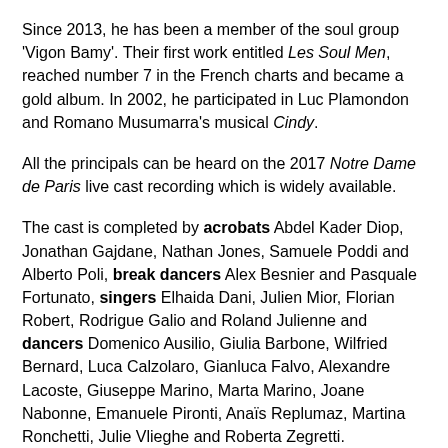Since 2013, he has been a member of the soul group 'Vigon Bamy'. Their first work entitled Les Soul Men, reached number 7 in the French charts and became a gold album. In 2002, he participated in Luc Plamondon and Romano Musumarra's musical Cindy.
All the principals can be heard on the 2017 Notre Dame de Paris live cast recording which is widely available.
The cast is completed by acrobats Abdel Kader Diop, Jonathan Gajdane, Nathan Jones, Samuele Poddi and Alberto Poli, break dancers Alex Besnier and Pasquale Fortunato, singers Elhaida Dani, Julien Mior, Florian Robert, Rodrigue Galio and Roland Julienne and dancers Domenico Ausilio, Giulia Barbone, Wilfried Bernard, Luca Calzolaro, Gianluca Falvo, Alexandre Lacoste, Giuseppe Marino, Marta Marino, Joane Nabonne, Emanuele Pironti, Anaïs Replumaz, Martina Ronchetti, Julie Vlieghe and Roberta Zegretti.